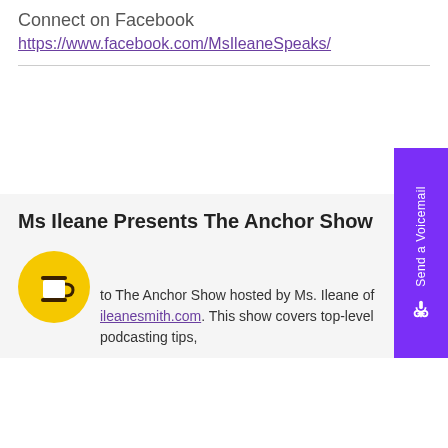Connect on Facebook
https://www.facebook.com/MsIleaneSpeaks/
[Figure (other): Purple vertical 'Send a Voicemail' button on the right side with a microphone icon]
Ms Ileane Presents The Anchor Show
[Figure (illustration): Yellow circle with a coffee cup icon (Buy Me a Coffee button)]
Welcome to The Anchor Show hosted by Ms. Ileane of ileanesmith.com. This show covers top-level podcasting tips,